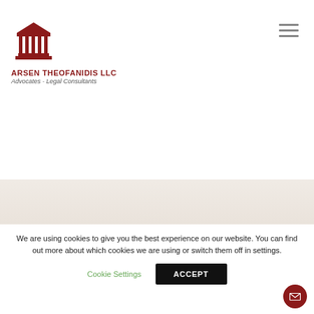[Figure (logo): Arsen Theofanidis LLC law firm logo with classical building icon]
ARSEN THEOFANIDIS LLC
Advocates - Legal Consultants
We are using cookies to give you the best experience on our website. You can find out more about which cookies we are using or switch them off in settings.
Cookie Settings
ACCEPT